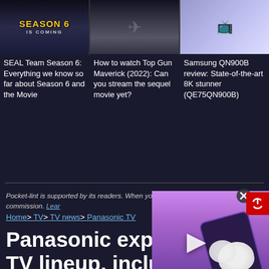[Figure (screenshot): SEAL Team Season 6 promotional image with 'SEASON 6 IS COMING' text]
[Figure (screenshot): Top Gun Maverick movie still showing pilot in cockpit]
[Figure (screenshot): Samsung QN900B TV in living room setting]
SEAL Team Season 6: Everything we know so far about Season 6 and the Movie
How to watch Top Gun Maverick (2022): Can you stream the sequel movie yet?
Samsung QN900B review: State-of-the-art 8K stunner (QE75QN900B)
Pocket-lint is supported by its readers. When you buy through links on our site, we may earn an affiliate commission. Learn more
Home> TV> TV news> Panasonic TV
Panasonic expands 2022 TV lineup, including new LZ1500 OLED and more
[Figure (screenshot): Advertisement overlay showing earbuds/AirPods on a phone with play button, and red power logo]